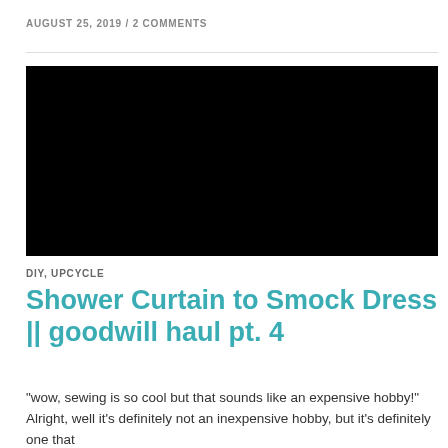AUGUST 25, 2019 / 2 COMMENTS
[Figure (other): Black video thumbnail or embedded video placeholder]
DIY, UPCYCLE
Shower Curtain to Smock Dress || goodwill haul pt. 4
“wow, sewing is so cool but that sounds like an expensive hobby!” Alright, well it’s definitely not an inexpensive hobby, but it’s definitely one that